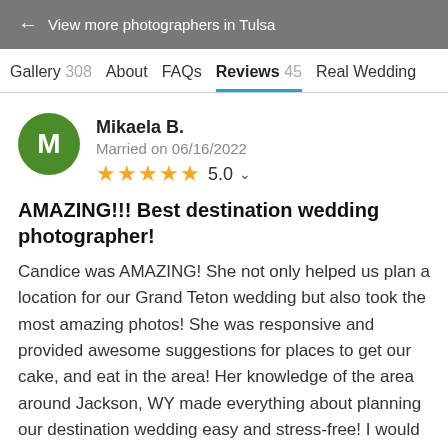← View more photographers in Tulsa
Gallery 308   About   FAQs   Reviews 45   Real Wedding
Mikaela B.
Married on 06/16/2022
★★★★★ 5.0
AMAZING!!! Best destination wedding photographer!
Candice was AMAZING! She not only helped us plan a location for our Grand Teton wedding but also took the most amazing photos! She was responsive and provided awesome suggestions for places to get our cake, and eat in the area! Her knowledge of the area around Jackson, WY made everything about planning our destination wedding easy and stress-free! I would hire her again in a heartbeat to